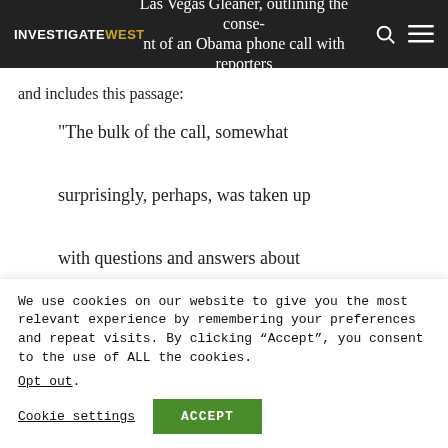Las Vegas Gleaner, outlining the content of an Obama phone call with reporters
and includes this passage:
“The bulk of the call, somewhat surprisingly, perhaps, was taken up with questions and answers about federal mining law reform. On that issue, Obama appears to be for
We use cookies on our website to give you the most relevant experience by remembering your preferences and repeat visits. By clicking “Accept”, you consent to the use of ALL the cookies. Opt out.
Cookie settings  ACCEPT